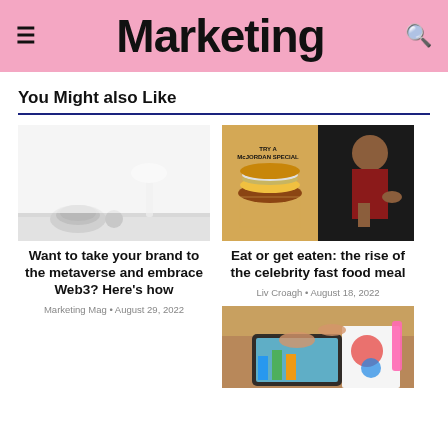Marketing
You Might also Like
[Figure (photo): White minimalist desk scene with VR headset and desk lamp]
Want to take your brand to the metaverse and embrace Web3? Here's how
Marketing Mag • August 29, 2022
[Figure (photo): McJordan Special McDonald's advertisement poster with basketball player eating]
Eat or get eaten: the rise of the celebrity fast food meal
Liv Croagh • August 18, 2022
[Figure (photo): Hands holding tablet with charts and data analytics documents on desk]